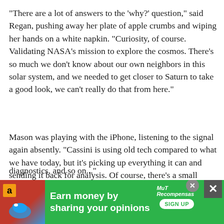"There are a lot of answers to the 'why?' question," said Regan, pushing away her plate of apple crumbs and wiping her hands on a white napkin. "Curiosity, of course. Validating NASA's mission to explore the cosmos. There's so much we don't know about our own neighbors in this solar system, and we needed to get closer to Saturn to take a good look, we can't really do that from here."
Mason was playing with the iPhone, listening to the signal again absently. "Cassini is using old tech compared to what we have today, but it's picking up everything it can and sending it back for analysis. Of course, there's a small signal, something like a 'ping' but a little longer, that Cassini sends at regular intervals back to mission control. Basic calibration and telemetry stuff: here I am, here's my current location, power status, system diagnostics, and so on..."
[Figure (other): Advertisement banner: green background with Amazon logo, text 'Earn money by sharing your opinions', MuT Recompensas logo, and SIGN UP button. Close buttons visible.]